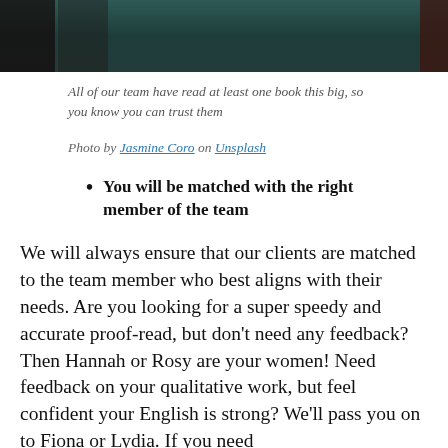[Figure (photo): A dark-toned photo strip showing people, with dark red/brown tones on the sides and teal/dark green in the center background.]
All of our team have read at least one book this big, so you know you can trust them
Photo by Jasmine Coro on Unsplash
You will be matched with the right member of the team
We will always ensure that our clients are matched to the team member who best aligns with their needs. Are you looking for a super speedy and accurate proof-read, but don't need any feedback? Then Hannah or Rosy are your women! Need feedback on your qualitative work, but feel confident your English is strong? We'll pass you on to Fiona or Lydia. If you need